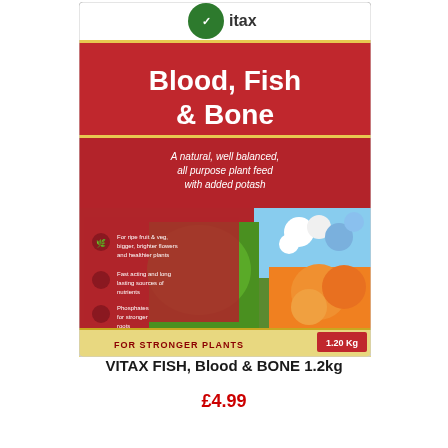[Figure (photo): Product image of Vitax Blood, Fish & Bone 1.2kg fertilizer box. Red background box with Vitax logo (green checkmark), large white text 'Blood, Fish & Bone', subtitle 'A natural, well balanced, all purpose plant feed with added potash', bullet points with icons, and colorful garden photos of flowers, vegetables on the front. Bottom strip reads 'FOR STRONGER PLANTS 1.20 Kg'.]
VITAX FISH, Blood & BONE 1.2kg
£4.99